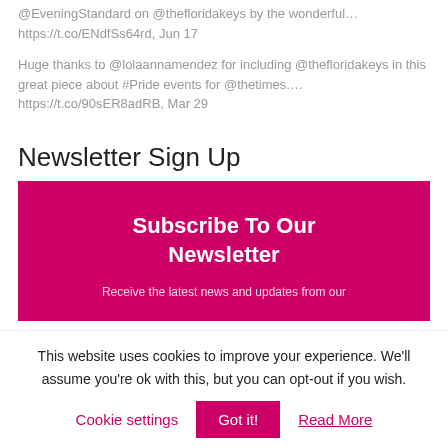@EveningStandard on @thefloridakeys by the wonderful… https://t.co/ENdfSs64rd, Jun 17
Huge thanks to @lolaannamendez for including @thefloridakeys in this great piece about #Pride events for @thetimes.… https://t.co/90sER8adRB, Mar 29
Newsletter Sign Up
[Figure (infographic): Pink/magenta newsletter signup box with white bold text 'Subscribe To Our Newsletter' and partial subtext 'Receive the latest news and updates from our']
This website uses cookies to improve your experience. We'll assume you're ok with this, but you can opt-out if you wish.
Cookie settings | Got it! | Read More